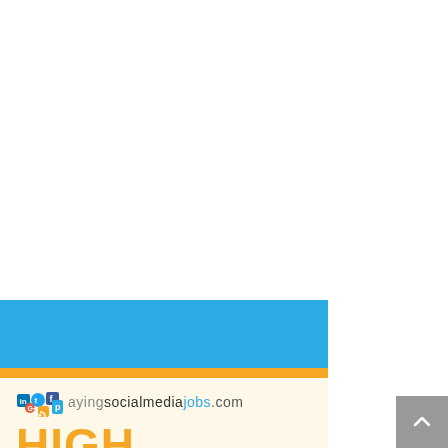[Figure (logo): payingsocialmediajobs.com logo banner with blue header bar, gold divider stripe, cream background, colorful social media icon cluster, logo text and HIGH PAYING text in orange]